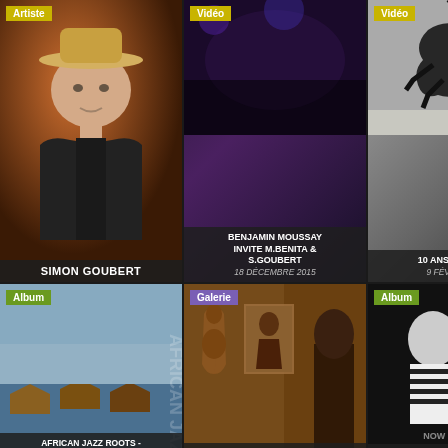[Figure (photo): Artist photo of Simon Goubert, man with hat on orange/brown background. Badge: Artiste. Label: SIMON GOUBERT]
[Figure (photo): Video thumbnail, dark purple concert scene. Badge: Vidéo. Title: BENJAMIN MOUSSAY INVITE M.BENITA & S.GOUBERT, date: 18 DÉCEMBRE 2015]
[Figure (photo): Video thumbnail, black and white lizard/gecko. Badge: Vidéo. Title: 10 ANS DU TRITON, date: 9 FÉVRIER 2009]
[Figure (photo): Gallery thumbnail, warm toned art/instruments. Badge: Galerie. Title: COMPADRES / OFFSTAGE PAR MARION LEFEBVRE, date: 22 SEPTEMBRE 2013]
[Figure (photo): Album cover, black and white two musicians. Badge: Album. Title: NOW OR NEVER - BEX / FERRIS / GOUBERT, year: 2013]
[Figure (photo): Album cover, African port/harbor scene. Badge: Album. Title: AFRICAN JAZZ ROOTS - SIMON GOUBERT & ABLAYE CISSOKO, year: 2012]
[Figure (photo): Album cover, open gate / underground passage. Badge: Album. Title: OPEN GATE - BEX / GOUBERT / BEARZATTI, year: 2009]
[Figure (photo): Album cover, dark blue with red graphic design. Badge: Album. Title: POURQUOI TANT DE...? - SIMON GOUBERT, year: 2011]
[Figure (photo): Album cover partial, green D letter on dark background. Badge: Album.]
[Figure (photo): Album cover partial, bottom middle. Badge: Album.]
[Figure (photo): Album cover partial, bottom right. Badge: Album.]